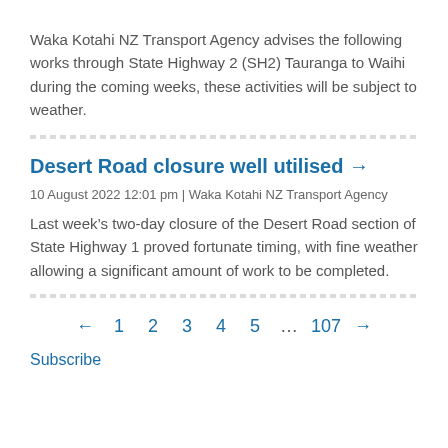Waka Kotahi NZ Transport Agency advises the following works through State Highway 2 (SH2) Tauranga to Waihi during the coming weeks, these activities will be subject to weather.
Desert Road closure well utilised →
10 August 2022 12:01 pm | Waka Kotahi NZ Transport Agency
Last week's two-day closure of the Desert Road section of State Highway 1 proved fortunate timing, with fine weather allowing a significant amount of work to be completed.
← 1 2 3 4 5 … 107 →
Subscribe